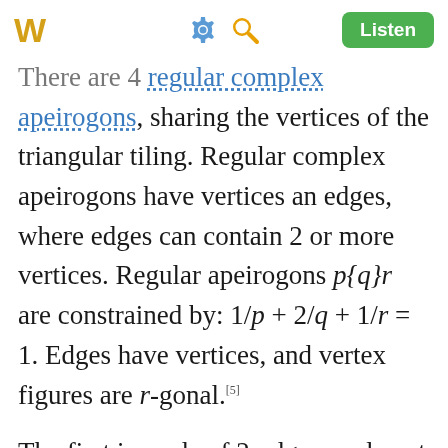W [gear icon] [search icon] Listen
There are 4 regular complex apeirogons, sharing the vertices of the triangular tiling. Regular complex apeirogons have vertices and edges, where edges can contain 2 or more vertices. Regular apeirogons p{q}r are constrained by: 1/p + 2/q + 1/r = 1. Edges have p vertices, and vertex figures are r-gonal.[5]
The first is made of 2-edges, and next two are triangular edges, and the last has overlapping hexagonal edges.